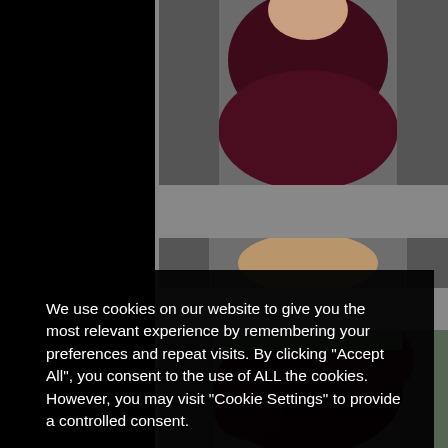[Figure (photo): Top photo showing a person in a dark maroon/burgundy top, partial view from behind/side, gray background]
[Figure (photo): Middle partial photo showing a person's face/upper body, partially obscured by cookie consent dialog]
We use cookies on our website to give you the most relevant experience by remembering your preferences and repeat visits. By clicking “Accept All”, you consent to the use of ALL the cookies. However, you may visit “Cookie Settings” to provide a controlled consent.
Cookie settings
Accept All
[Figure (photo): Bottom photo showing a person in a dark maroon/burgundy clothing, partial view, gray background]